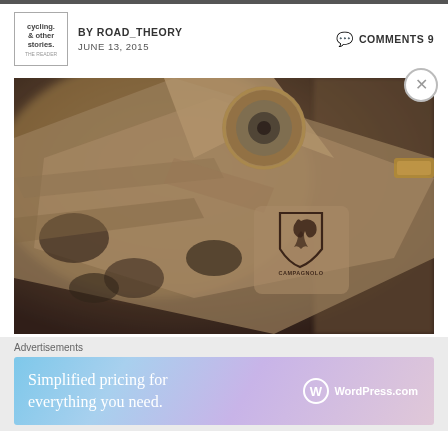BY ROAD_THEORY  JUNE 13, 2015  COMMENTS 9
[Figure (photo): Close-up macro photograph of a Campagnolo bicycle component (appears to be a derailleur or brake part) showing the embossed Campagnolo shield logo with the bird/wing motif. The metal part has a warm golden-brown tonal finish with bokeh background. The Campagnolo branding is clearly visible on the component.]
Advertisements
[Figure (screenshot): WordPress.com advertisement banner with gradient background (blue to purple/pink) showing text 'Simplified pricing for everything you need.' and the WordPress.com logo on the right side.]